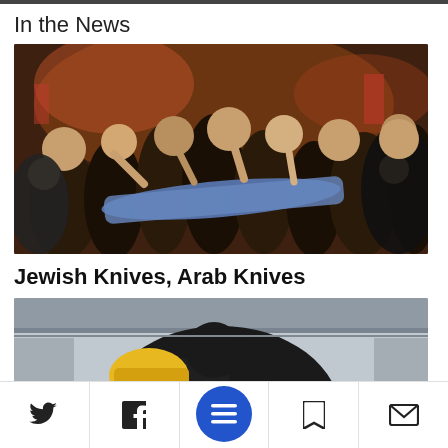In the News
[Figure (photo): A crowd of people carrying a body wrapped in cloth, likely a funeral procession in a crowded indoor or street setting.]
Jewish Knives, Arab Knives
[Figure (photo): A person in a dark jacket and yellow hat, partial view, in an urban setting.]
Twitter | Facebook | Menu | Bookmark | Email